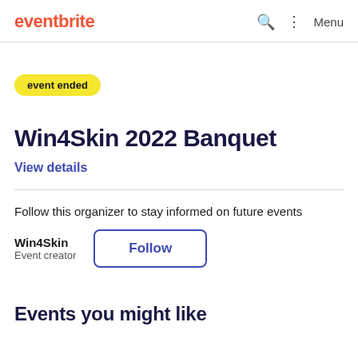eventbrite   Menu
event ended
Win4Skin 2022 Banquet
View details
Follow this organizer to stay informed on future events
Win4Skin
Event creator
Follow
Events you might like